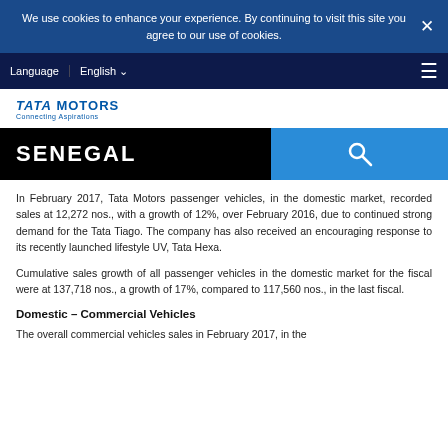We use cookies to enhance your experience. By continuing to visit this site you agree to our use of cookies.
Language  English
[Figure (logo): Tata Motors Connecting Aspirations logo]
SENEGAL
In February 2017, Tata Motors passenger vehicles, in the domestic market, recorded sales at 12,272 nos., with a growth of 12%, over February 2016, due to continued strong demand for the Tata Tiago. The company has also received an encouraging response to its recently launched lifestyle UV, Tata Hexa.
Cumulative sales growth of all passenger vehicles in the domestic market for the fiscal were at 137,718 nos., a growth of 17%, compared to 117,560 nos., in the last fiscal.
Domestic – Commercial Vehicles
The overall commercial vehicles sales in February 2017, in the